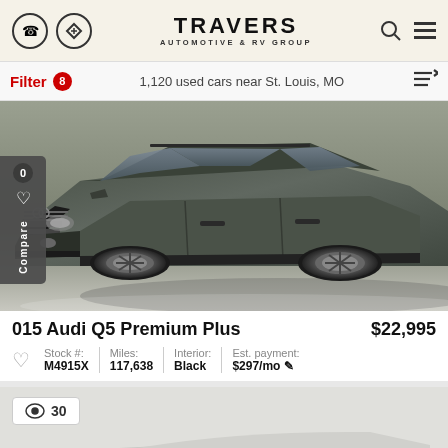TRAVERS AUTOMOTIVE & RV GROUP
Filter 8   1,120 used cars near St. Louis, MO
[Figure (photo): Dark gray/green Audi Q5 SUV front three-quarter view]
0 Compare
2015 Audi Q5 Premium Plus   $22,995
| Stock #: | Miles: | Interior: | Est. payment: |
| --- | --- | --- | --- |
| M4915X | 117,638 | Black | $297/mo |
[Figure (photo): Partial view of second car listing, views count badge showing 30]